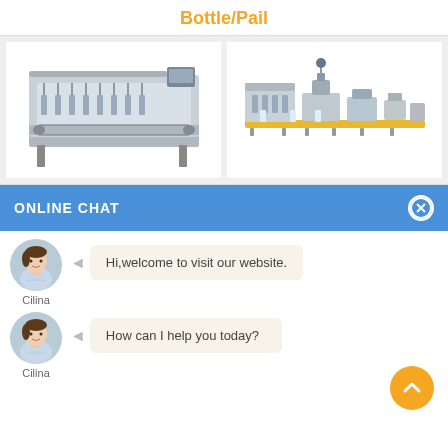Bottle/Pail
[Figure (photo): Industrial filling/packaging machine — multi-head liquid filler, stainless steel construction]
[Figure (photo): Industrial bottling line — filling, capping, and labeling machine assembly]
ONLINE CHAT
Hi,welcome to visit our website.
Cilina
How can I help you today?
Cilina